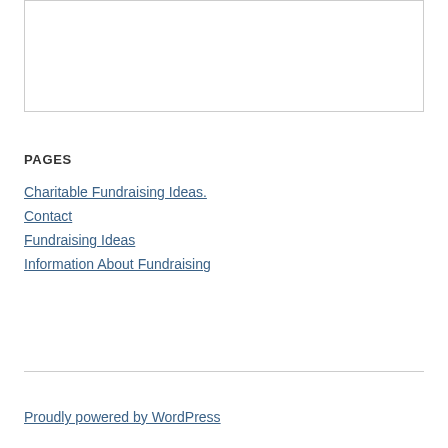PAGES
Charitable Fundraising Ideas.
Contact
Fundraising Ideas
Information About Fundraising
Proudly powered by WordPress